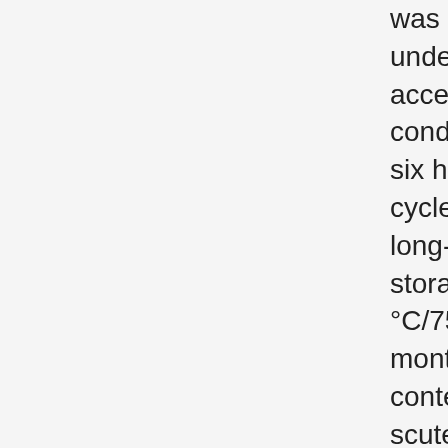was evaluated under accelerated conditions using six hot/cold cycles and after long-term storage at 30 °C/75% RH for 3 months. The content of scutellarein tetramethyl ether in C. odorata extract was 0.13 ± 0.02% w/w and the content of asiaticoside in the C. asiatica extract was 0.35 ± 0.04% w/w. Contents of scutellarein tetramethyl ether and asiaticoside in the cream formulation were 98.25 ± 0.43% and 102.16 ± 0.22%, respectively. The cream formulations containing the extracts had a good appearance and were non-greasy and easily applied, with a pH value of 5.4 ± 0.1 and viscosity of